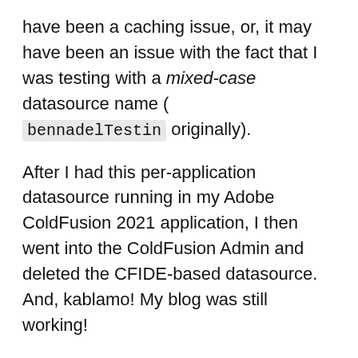have been a caching issue, or, it may have been an issue with the fact that I was testing with a mixed-case datasource name ( bennadelTestin originally).
After I had this per-application datasource running in my Adobe ColdFusion 2021 application, I then went into the ColdFusion Admin and deleted the CFIDE-based datasource. And, kablamo! My blog was still working!
In order to make sure that this was actually working, and not just a false positive, I had to go in and make sure that my CommandBox CFConfig was wasn't really the thing driving the datasource generation. To do this, I entered my running Docker CFML container and exported the